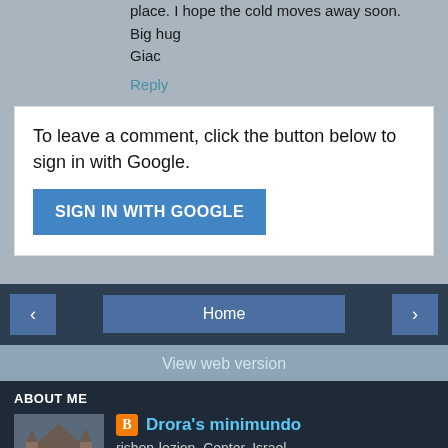place. I hope the cold moves away soon.
Big hug
Giac
Reply
To leave a comment, click the button below to sign in with Google.
SIGN IN WITH GOOGLE
Home
View web version
ABOUT ME
Drora's minimundo
rishon-lezion, Center, Israel
My name is Drora. My hobbies are dollhouse miniatures, classical music, folklore arts and crafts